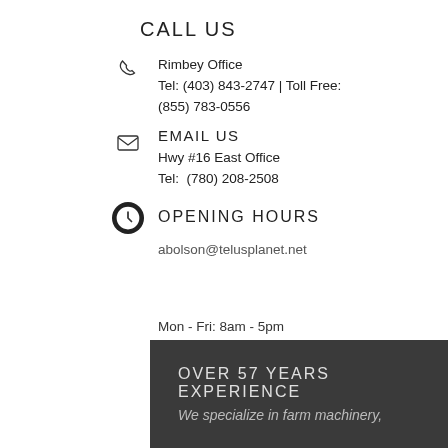CALL US
Rimbey Office
Tel: (403) 843-2747 | Toll Free:
(855) 783-0556
EMAIL US
Hwy #16 East Office
Tel:  (780) 208-2508
OPENING HOURS
abolson@telusplanet.net
Mon - Fri: 8am - 5pm
OVER 57 YEARS EXPERIENCE
We specialize in farm machinery,